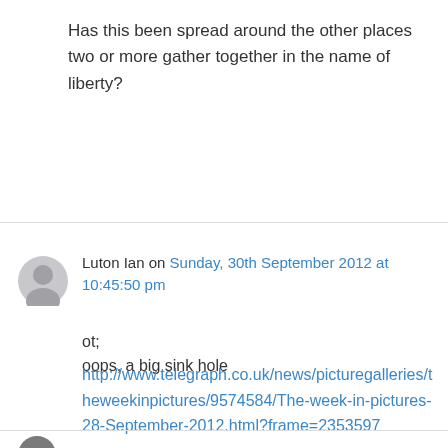Has this been spread around the other places two or more gather together in the name of liberty?
Luton Ian on Sunday, 30th September 2012 at 10:45:50 pm
ot;
oops, a big sink hole
http://www.telegraph.co.uk/news/picturegalleries/theweekinpictures/9574584/The-week-in-pictures-28-September-2012.html?frame=2353597